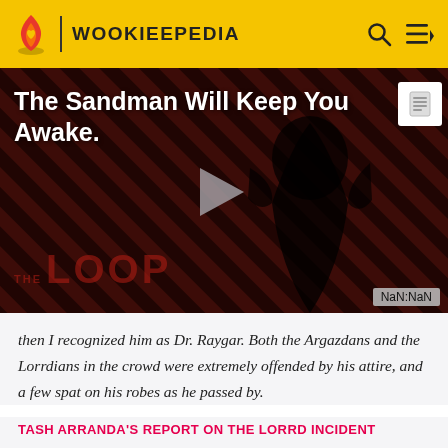WOOKIEEPEDIA
[Figure (screenshot): Video thumbnail for 'The Sandman Will Keep You Awake' showing a dark-clad figure against a red diagonal striped background with THE LOOP branding and a play button overlay. Timestamp shows NaN:NaN.]
then I recognized him as Dr. Raygar. Both the Argazdans and the Lorrdians in the crowd were extremely offended by his attire, and a few spat on his robes as he passed by.
TASH ARRANDA'S REPORT ON THE LORRD INCIDENT